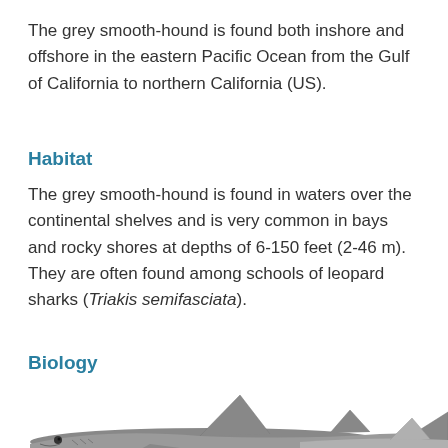The grey smooth-hound is found both inshore and offshore in the eastern Pacific Ocean from the Gulf of California to northern California (US).
Habitat
The grey smooth-hound is found in waters over the continental shelves and is very common in bays and rocky shores at depths of 6-150 feet (2-46 m). They are often found among schools of leopard sharks (Triakis semifasciata).
Biology
[Figure (illustration): Illustration of grey smooth-hound sharks, showing two sharks partially visible from a side view, with visible fins and body markings.]